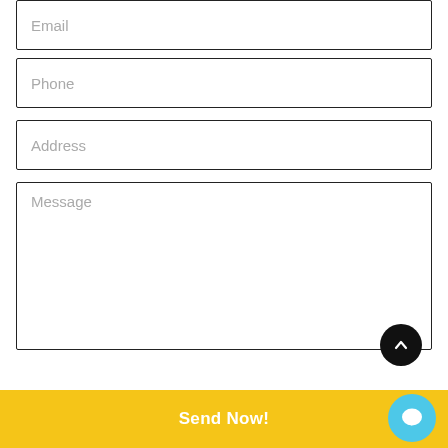[Figure (screenshot): Contact form with Email field (partially visible at top), Phone input field, Address input field, Message textarea (large), a black circular scroll-up button, a yellow Send Now! button at the bottom, and a cyan chat bubble button overlapping the bottom-right corner.]